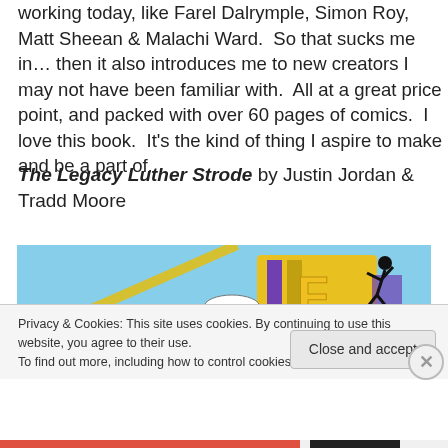working today, like Farel Dalrymple, Simon Roy, Matt Sheean & Malachi Ward.  So that sucks me in… then it also introduces me to new creators I may not have been familiar with.  All at a great price point, and packed with over 60 pages of comics.  I love this book.  It's the kind of thing I aspire to make and be a part of.
The Legacy Luther Strode by Justin Jordan & Tradd Moore
[Figure (screenshot): Comic book panel showing a light blue background with a diagonal yellow line, a figure in black falling/jumping, and a comic book panel corner with the letter F visible in yellow/purple. A speech bubble reads 'FLICK!'.]
Privacy & Cookies: This site uses cookies. By continuing to use this website, you agree to their use.
To find out more, including how to control cookies, see here: Cookie Policy
Close and accept